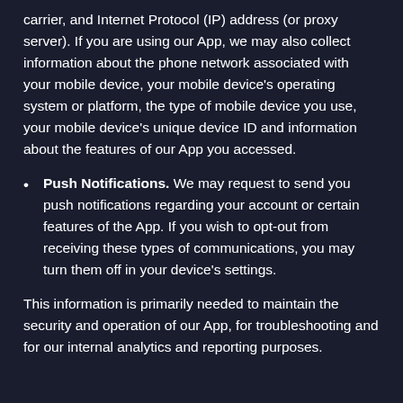carrier, and Internet Protocol (IP) address (or proxy server). If you are using our App, we may also collect information about the phone network associated with your mobile device, your mobile device's operating system or platform, the type of mobile device you use, your mobile device's unique device ID and information about the features of our App you accessed.
Push Notifications. We may request to send you push notifications regarding your account or certain features of the App. If you wish to opt-out from receiving these types of communications, you may turn them off in your device's settings.
This information is primarily needed to maintain the security and operation of our App, for troubleshooting and for our internal analytics and reporting purposes.